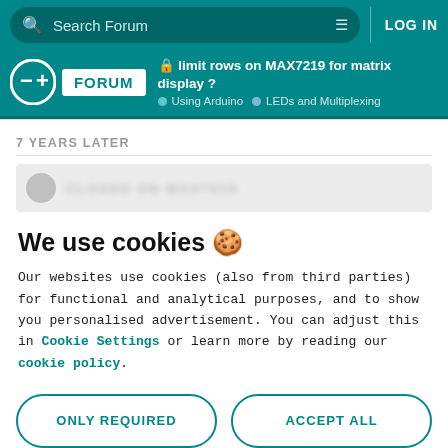Search Forum | LOG IN
FORUM | limit rows on MAX7219 for matrix display ? | Using Arduino | LEDs and Multiplexing
7 YEARS LATER
We use cookies 🍪
Our websites use cookies (also from third parties) for functional and analytical purposes, and to show you personalised advertisement. You can adjust this in Cookie Settings or learn more by reading our cookie policy.
ONLY REQUIRED
ACCEPT ALL